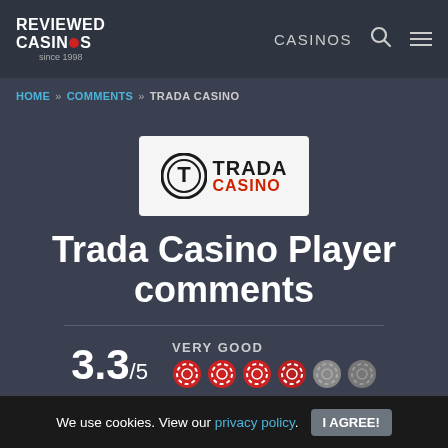REVIEWED CASINOS since 1998 | CASINOS
HOME » COMMENTS » TRADA CASINO
[Figure (logo): Trada Casino logo — circular T icon with TRADA CASINO text]
Trada Casino Player comments
VERY GOOD 3.3/5 — 4 red chips, 1 light chip
We use cookies. View our privacy policy. I AGREE!